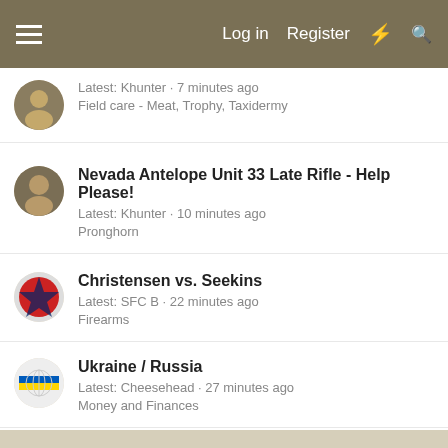Log in  Register
Latest: Khunter · 7 minutes ago
Field care - Meat, Trophy, Taxidermy
Nevada Antelope Unit 33 Late Rifle - Help Please!
Latest: Khunter · 10 minutes ago
Pronghorn
Christensen vs. Seekins
Latest: SFC B · 22 minutes ago
Firearms
Ukraine / Russia
Latest: Cheesehead · 27 minutes ago
Money and Finances
Forum statistics
|  |  |
| --- | --- |
| Threads: | 101,951 |
| Messages: | 1,634,568 |
| Members: | 31,866 |
| Latest member: | Rainman89 |